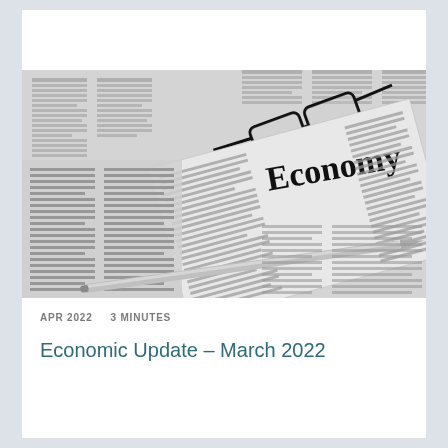[Figure (photo): Black and white photograph of newspaper pages with the word 'Economy' visible as a headline, with glasses and a silver pen resting on top of the newspapers.]
APR 2022   3 MINUTES
Economic Update – March 2022